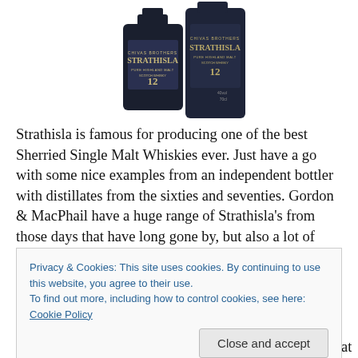[Figure (photo): Strathisla 12 year old Scotch whisky bottles, dark navy bottles with label, two bottles shown]
Strathisla is famous for producing one of the best Sherried Single Malt Whiskies ever. Just have a go with some nice examples from an independent bottler with distillates from the sixties and seventies. Gordon & MacPhail have a huge range of Strathisla's from those days that have long gone by, but also a lot of other independent bottlers have similar Sherried bottlings. Those Strathisla's can easily compete
Privacy & Cookies: This site uses cookies. By continuing to use this website, you agree to their use.
To find out more, including how to control cookies, see here: Cookie Policy
but that it! For a long time Strathisla was bottled in a flat